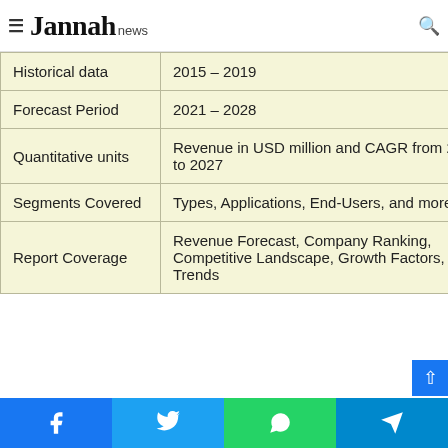Jannah news
| Historical data | 2015 – 2019 |
| Forecast Period | 2021 – 2028 |
| Quantitative units | Revenue in USD million and CAGR from 2021 to 2027 |
| Segments Covered | Types, Applications, End-Users, and more. |
| Report Coverage | Revenue Forecast, Company Ranking, Competitive Landscape, Growth Factors, and Trends |